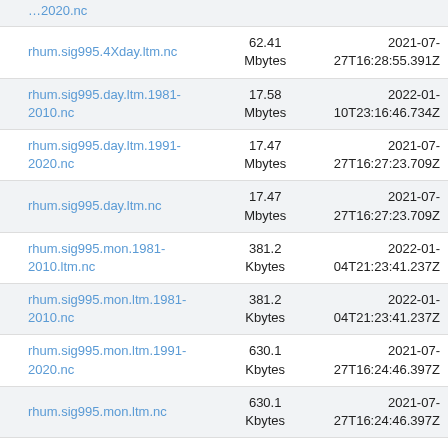| Name | Size | Last Modified |
| --- | --- | --- |
| rhum.sig995.4Xday.ltm.nc | 62.41 Mbytes | 2021-07-27T16:28:55.391Z |
| rhum.sig995.day.ltm.1981-2010.nc | 17.58 Mbytes | 2022-01-10T23:16:46.734Z |
| rhum.sig995.day.ltm.1991-2020.nc | 17.47 Mbytes | 2021-07-27T16:27:23.709Z |
| rhum.sig995.day.ltm.nc | 17.47 Mbytes | 2021-07-27T16:27:23.709Z |
| rhum.sig995.mon.1981-2010.ltm.nc | 381.2 Kbytes | 2022-01-04T21:23:41.237Z |
| rhum.sig995.mon.ltm.1981-2010.nc | 381.2 Kbytes | 2022-01-04T21:23:41.237Z |
| rhum.sig995.mon.ltm.1991-2020.nc | 630.1 Kbytes | 2021-07-27T16:24:46.397Z |
| rhum.sig995.mon.ltm.nc | 630.1 Kbytes | 2021-07-27T16:24:46.397Z |
| rhum.sig995.mon.mean.nc | 23.54 Mbytes | 2022-08-03T18:01:08.403Z |
| slp.4Xday.1981-2010.ltm.nc | 39.03 Mbytes | 2022-01-11T17:31:11.339Z |